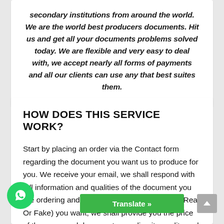secondary institutions from around the world. We are the world best producers documents. Hit us and get all your documents problems solved today. We are flexible and very easy to deal with, we accept nearly all forms of payments and all our clients can use any that best suites them.
HOW DOES THIS SERVICE WORK?
Start by placing an order via the Contact form regarding the document you want us to produce for you. We receive your email, we shall respond with full information and qualities of the document you are ordering and once you confirm the quality (Real Or Fake) you want, we shall provide you the price of the supposed document regarding its quality and the terms of producing ... with price and terms, we shall proceed wi... ...t immigration